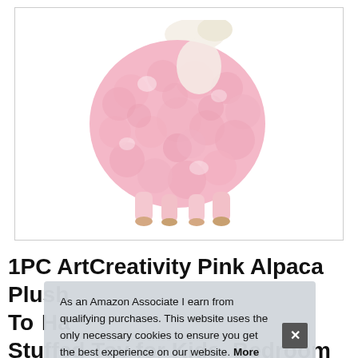[Figure (photo): Pink fluffy alpaca stuffed animal plush toy photographed from behind/side angle on white background, showing thick curly pink fur covering the body and small hooves at the bottom]
1PC ArtCreativity Pink Alpaca Plush Toy, Ha... Stuffed Toy for Kids, Bedroom or...
As an Amazon Associate I earn from qualifying purchases. This website uses the only necessary cookies to ensure you get the best experience on our website. More information